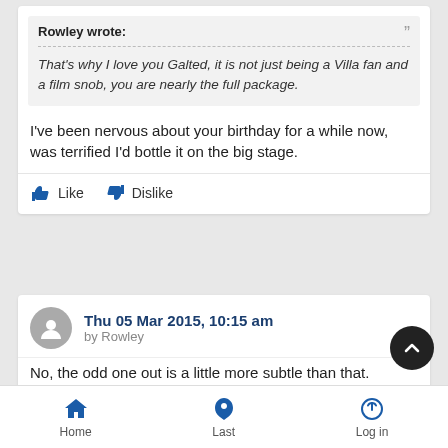Rowley wrote:
That's why I love you Galted, it is not just being a Villa fan and a film snob, you are nearly the full package.
I've been nervous about your birthday for a while now, was terrified I'd bottle it on the big stage.
Like  Dislike
Thu 05 Mar 2015, 10:15 am by Rowley
No, the odd one out is a little more subtle than that.
Like  Dislike
Home  Last  Log in